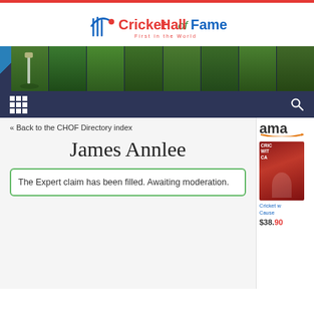[Figure (logo): Cricket Hall of Fame logo with cricket stumps icon and text]
[Figure (photo): Banner strip showing multiple cricket players in action poses on green field]
nav bar with grid menu icon and search icon
« Back to the CHOF Directory index
James Annlee
The Expert claim has been filled. Awaiting moderation.
[Figure (logo): Amazon logo with smile]
[Figure (photo): Cricket book cover - red/dark cover]
Cricket w Cause
$38.90